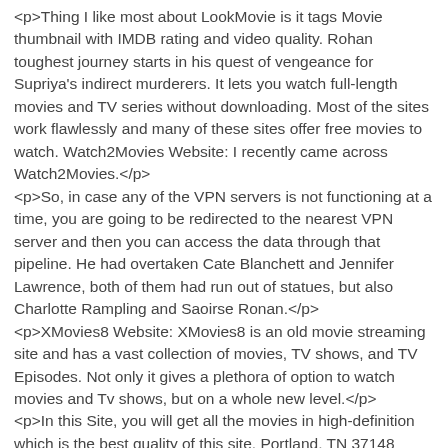<p>Thing I like most about LookMovie is it tags Movie thumbnail with IMDB rating and video quality. Rohan toughest journey starts in his quest of vengeance for Supriya's indirect murderers. It lets you watch full-length movies and TV series without downloading. Most of the sites work flawlessly and many of these sites offer free movies to watch. Watch2Movies Website: I recently came across Watch2Movies.</p>
<p>So, in case any of the VPN servers is not functioning at a time, you are going to be redirected to the nearest VPN server and then you can access the data through that pipeline. He had overtaken Cate Blanchett and Jennifer Lawrence, both of them had run out of statues, but also Charlotte Rampling and Saoirse Ronan.</p>
<p>XMovies8 Website: XMovies8 is an old movie streaming site and has a vast collection of movies, TV shows, and TV Episodes. Not only it gives a plethora of option to watch movies and Tv shows, but on a whole new level.</p>
<p>In this Site, you will get all the movies in high-definition which is the best quality of this site. Portland, TN 37148 Today Plentiful sunshine. Please include what you were doing when this page came up and the Cloudflare Ray ID found at the bottom of this page.</p>
<p>All mirrors listed below were accessible at the time of writing this article. Here you can also stream TV Series online for free. I love to write about Blogging, Internet Marketing, making money</p>